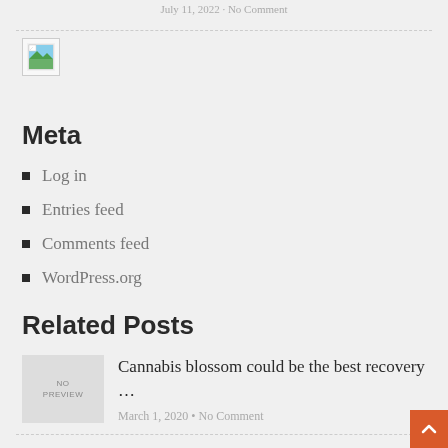July 11, 2022 · No Comment
[Figure (illustration): Broken/missing image placeholder icon with green and blue colors]
Meta
Log in
Entries feed
Comments feed
WordPress.org
Related Posts
[Figure (illustration): No Preview placeholder image for related post]
Cannabis blossom could be the best recovery …
March 1, 2020 • No Comment